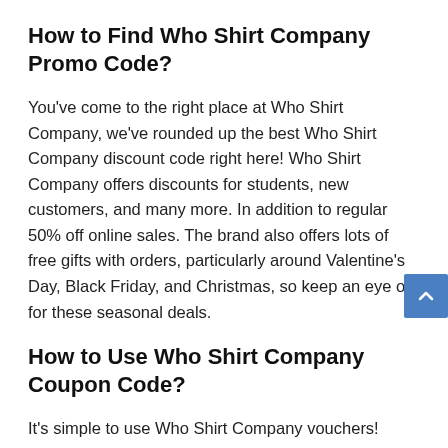How to Find Who Shirt Company Promo Code?
You've come to the right place at Who Shirt Company, we've rounded up the best Who Shirt Company discount code right here! Who Shirt Company offers discounts for students, new customers, and many more. In addition to regular 50% off online sales. The brand also offers lots of free gifts with orders, particularly around Valentine's Day, Black Friday, and Christmas, so keep an eye out for these seasonal deals.
How to Use Who Shirt Company Coupon Code?
It's simple to use Who Shirt Company vouchers! When